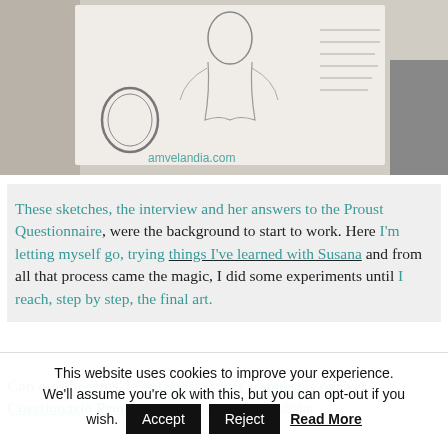[Figure (photo): A photograph of a sketchbook page showing a figure/portrait drawing, with watermark text 'amvelandia.com' overlaid in teal.]
These sketches, the interview and her answers to the Proust Questionnaire, were the background to start to work. Here I'm letting myself go, trying things I've learned with Susana and from all that process came the magic, I did some experiments until I reach, step by step, the final art.
Con esos bocetos, la entrevista y sus respuestas para el Cuestionario Proust en la mochila decidí trabajar.
This website uses cookies to improve your experience. We'll assume you're ok with this, but you can opt-out if you wish.